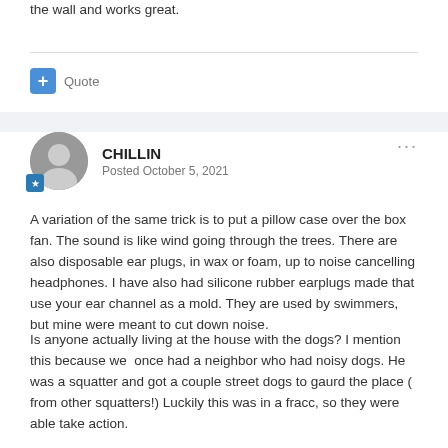the wall and works great.
+ Quote
CHILLIN
Posted October 5, 2021
A variation of the same trick is to put a pillow case over the box fan. The sound is like wind going through the trees. There are also disposable ear plugs, in wax or foam, up to noise cancelling headphones. I have also had silicone rubber earplugs made that use your ear channel as a mold. They are used by swimmers, but mine were meant to cut down noise.
Is anyone actually living at the house with the dogs? I mention this because we  once had a neighbor who had noisy dogs. He was a squatter and got a couple street dogs to gaurd the place ( from other squatters!) Luckily this was in a fracc, so they were able take action.